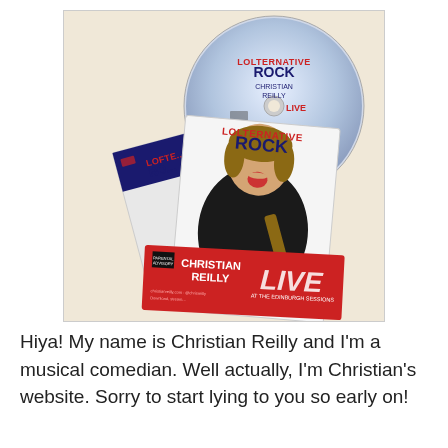[Figure (photo): Photo showing Lolternative Rock album CD and booklets/sleeves for Christian Reilly Live at the Edinburgh Sessions. Multiple overlapping items including a disc, a large booklet showing a man playing guitar with mouth open, and a smaller booklet with red band reading 'Christian Reilly Live'.]
Hiya! My name is Christian Reilly and I'm a musical comedian. Well actually, I'm Christian's website. Sorry to start lying to you so early on!